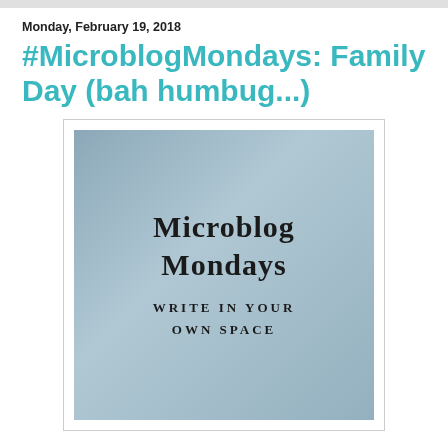Monday, February 19, 2018
#MicroblogMondays: Family Day (bah humbug...)
[Figure (illustration): Microblog Mondays logo image: a square with bluish-grey gradient background, containing the text 'MICROBLOG MONDAYS' in large serif font and 'WRITE IN YOUR OWN SPACE' in small caps below, inside a white-bordered frame.]
You might think I would be grateful for a long weekend in February -- and I am (and I most certainly was, when I was working).  But unlike Christmas, Thanksgiving, Canada Day, St. Patrick's Day, or just about any other statutory or "Hallmark" holiday (outside of Mother's & Father's Days), there is nothing about Family Day that I really enjoy or look